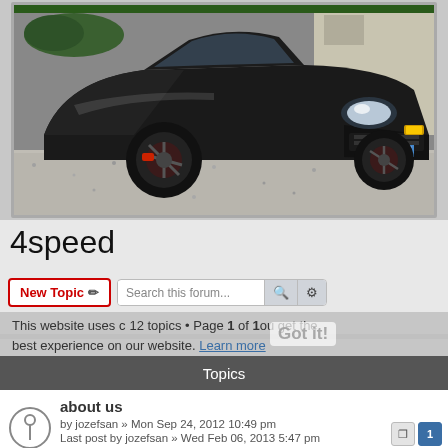[Figure (photo): A black Honda Prelude or similar sports car parked on a gravel driveway in front of a building. The car is photographed from a front three-quarter angle, showing dark alloy wheels and a black body.]
4speed
New Topic
Search this forum...
This website uses cookies to ensure you get the best experience on our website. Learn more
12 topics • Page 1 of 1
Topics
about us
by jozefsan » Mon Sep 24, 2012 10:49 pm
Last post by jozefsan » Wed Feb 06, 2013 5:47 pm
Replies: 10